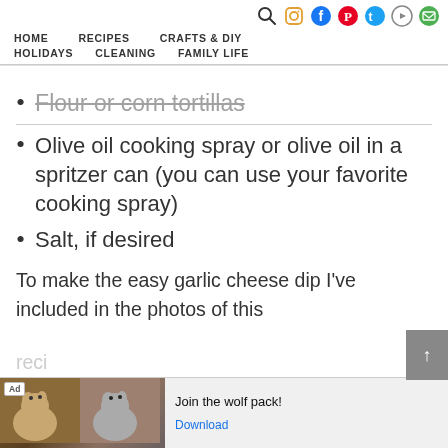HOME  RECIPES  CRAFTS & DIY  HOLIDAYS  CLEANING  FAMILY LIFE
flour or corn tortillas
Olive oil cooking spray or olive oil in a spritzer can (you can use your favorite cooking spray)
Salt, if desired
To make the easy garlic cheese dip I've included in the photos of this reci...
[Figure (screenshot): Ad banner with wolf images and text 'Join the wolf pack!' and a Download link]